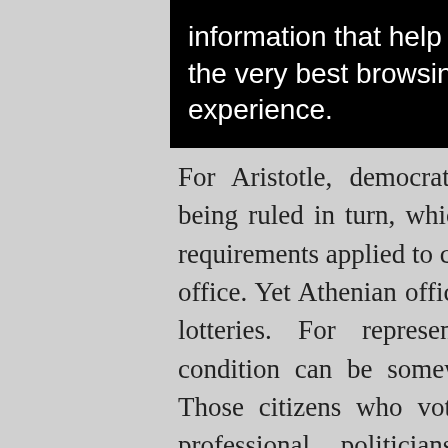[Figure (screenshot): Black banner with white text: 'information that help give you the very best browsing experience.']
For Aristotle, democratic citizenship meant ruling and being ruled in turn, which implied that the same capacity requirements applied to citizens and those exercising public office. Yet Athenian office-holders were appointed through lotteries. For representative liberal democracy, this condition can be somewhat relaxed, but not altogether. Those citizens who vote do not have to be trained as professional politicians but must be capable of communicating with other citizens and understanding what candidates and parties stand for. They are also collectively responsible for their choices (Hobden 2015). Not to expect the members of the demos to have these capacities means